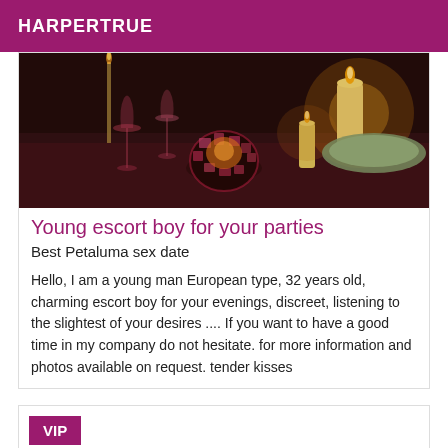HARPERTRUE
[Figure (photo): Romantic dinner table setting with candles, wine glasses, and a decorative mosaic candle holder on a dark table]
Young escort boy for your parties
Best Petaluma sex date
Hello, I am a young man European type, 32 years old, charming escort boy for your evenings, discreet, listening to the slightest of your desires .... If you want to have a good time in my company do not hesitate. for more information and photos available on request. tender kisses
VIP